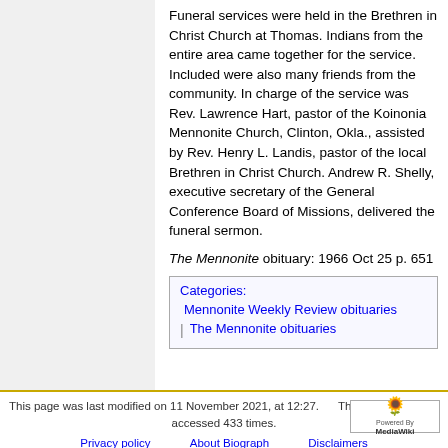Funeral services were held in the Brethren in Christ Church at Thomas. Indians from the entire area came together for the service. Included were also many friends from the community. In charge of the service was Rev. Lawrence Hart, pastor of the Koinonia Mennonite Church, Clinton, Okla., assisted by Rev. Henry L. Landis, pastor of the local Brethren in Christ Church. Andrew R. Shelly, executive secretary of the General Conference Board of Missions, delivered the funeral sermon.
The Mennonite obituary: 1966 Oct 25 p. 651
Categories:
Mennonite Weekly Review obituaries
The Mennonite obituaries
This page was last modified on 11 November 2021, at 12:27. This page has been accessed 433 times.
Privacy policy   About Biograph   Disclaimers